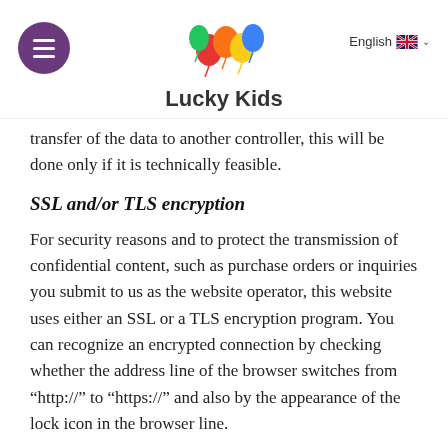Lucky Kids
transfer of the data to another controller, this will be done only if it is technically feasible.
SSL and/or TLS encryption
For security reasons and to protect the transmission of confidential content, such as purchase orders or inquiries you submit to us as the website operator, this website uses either an SSL or a TLS encryption program. You can recognize an encrypted connection by checking whether the address line of the browser switches from "http://" to "https://" and also by the appearance of the lock icon in the browser line.
If the SSL or TLS encryption is activated, data you